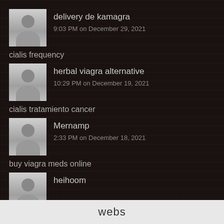delivery de kamagra
9:03 PM on December 29, 2021
cialis frequency
herbal viagra alternative
10:29 PM on December 19, 2021
cialis tratamiento cancer
Mernamp
2:33 PM on December 18, 2021
buy viagra meds online
heihoom
webs